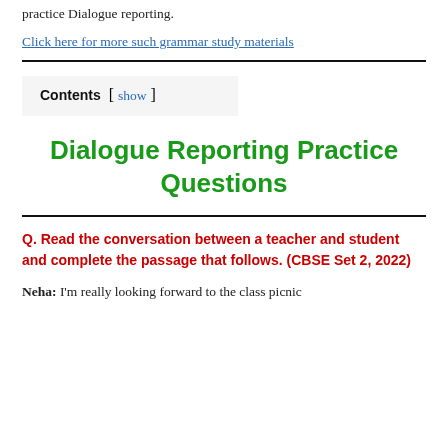practice Dialogue reporting.
Click here for more such grammar study materials
Dialogue Reporting Practice Questions
Contents [ show ]
Q. Read the conversation between a teacher and student and complete the passage that follows. (CBSE Set 2, 2022)
Neha: I'm really looking forward to the class picnic